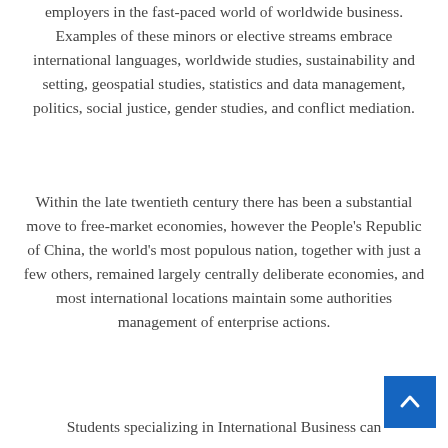employers in the fast-paced world of worldwide business. Examples of these minors or elective streams embrace international languages, worldwide studies, sustainability and setting, geospatial studies, statistics and data management, politics, social justice, gender studies, and conflict mediation.
Within the late twentieth century there has been a substantial move to free-market economies, however the People's Republic of China, the world's most populous nation, together with just a few others, remained largely centrally deliberate economies, and most international locations maintain some authorities management of enterprise actions.
Students specializing in International Business can